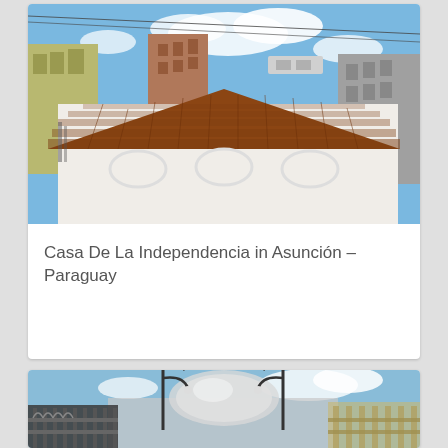[Figure (photo): Photograph of Casa De La Independencia in Asunción, Paraguay. Shows a white colonial-style building with a terracotta tiled roof in the foreground, with modern multi-story brick and concrete buildings visible behind it under a blue sky with white clouds.]
Casa De La Independencia in Asunción – Paraguay
[Figure (photo): Photograph showing ornate wrought-iron gates and street lamps in the foreground, with a large domed building (likely Mercado 4 or similar) visible in the background under a blue sky, in Asunción, Paraguay.]